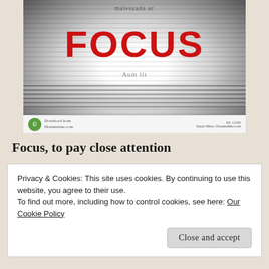[Figure (illustration): A blurred image of a newspaper or text with the word FOCUS in large red bold letters in the center, surrounded by motion-blurred horizontal stripes of text, creating a focus/blur visual effect. Image downloaded from Dreamstime.com.]
Focus, to pay close attention
Privacy & Cookies: This site uses cookies. By continuing to use this website, you agree to their use.
To find out more, including how to control cookies, see here: Our Cookie Policy
Close and accept